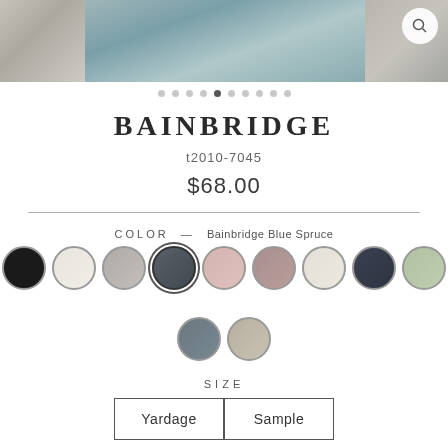[Figure (photo): Product fabric image strip showing textured fabric samples in grey and blue-grey tones]
BAINBRIDGE
t2010-7045
$68.00
COLOR — Bainbridge Blue Spruce
[Figure (other): Color swatch circles showing 11 fabric color options: black, white/cream, light grey, dark blue-grey, blush pink, mauve/taupe, ivory, dark navy, sage green, blue-grey, warm grey/beige]
SIZE
Yardage
Sample